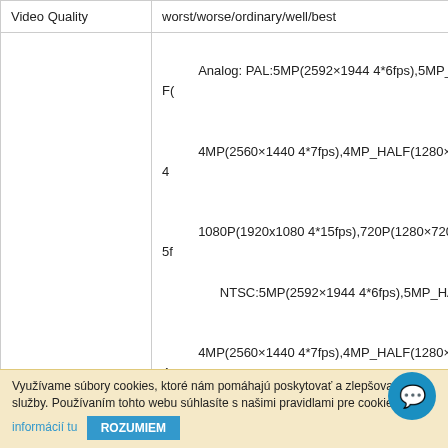| Feature | Value |
| --- | --- |
| Video Quality | worst/worse/ordinary/well/best |
| Record Rate | Analog: PAL:5MP(2592×1944 4*6fps),5MP_HALF(
4MP(2560×1440 4*7fps),4MP_HALF(1280×1440 4
1080P(1920x1080 4*15fps),720P(1280×720 4*25f
    NTSC:5MP(2592×1944 4*6fps),5MP_HALF(
4MP(2560×1440 4*7fps),4MP_HALF(1280×1440 4
1080P(1920x1080 4*15fps),720P(1280×720 4*30f
Pure IP: PAL: 5MP@5×25fp,4MP@7x25fp,3MP@7
960P@16×25fp,720P@16×25fp,D1@16×25fp
    NTSC: 5MP@5×30fp,4MP@7×30fp,3MP@7
960P@16×30fp, 720P@16×30fp, D1@16×30fp |
| Record Mode | Manualimerotion Detection |
Využívame súbory cookies, ktoré nám pomáhajú poskytovať a zlepšovať služby. Používaním tohto webu súhlasíte s našimi pravidlami pre cookie
informácií tu   ROZUMIEM